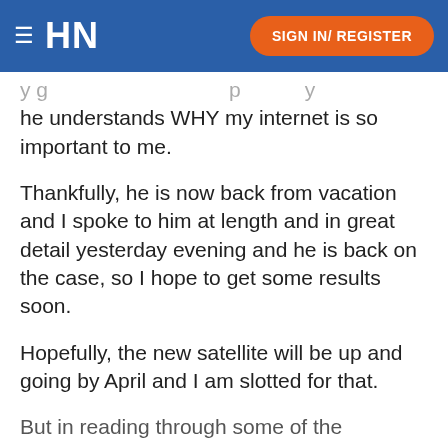HN  SIGN IN/ REGISTER
y g                                              p         y he understands WHY my internet is so important to me.
Thankfully, he is now back from vacation and I spoke to him at length and in great detail yesterday evening and he is back on the case, so I hope to get some results soon.
Hopefully, the new satellite will be up and going by April and I am slotted for that.
But in reading through some of the complaints in this community, there are